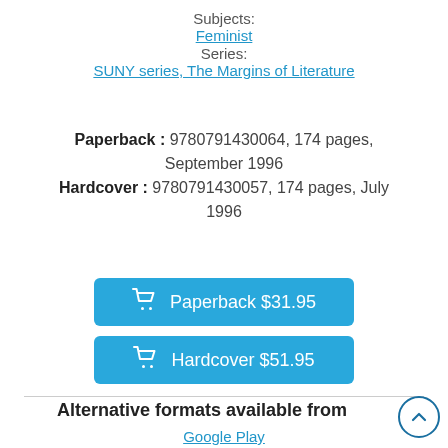Subjects:
Feminist
Series:
SUNY series, The Margins of Literature
Paperback : 9780791430064, 174 pages, September 1996
Hardcover : 9780791430057, 174 pages, July 1996
Paperback $31.95
Hardcover $51.95
Alternative formats available from
Google Play